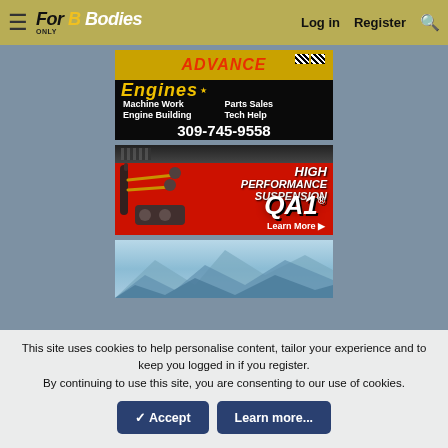For B Bodies Only — Log in | Register | Search
[Figure (photo): Advance Engines ad banner: Machine Work, Parts Sales, Engine Building, Tech Help, 309-745-9558]
[Figure (photo): QA1 High Performance Suspension ad banner with suspension parts image and Learn More button]
[Figure (photo): Third ad banner with blue mountain/sky background]
This site uses cookies to help personalise content, tailor your experience and to keep you logged in if you register.
By continuing to use this site, you are consenting to our use of cookies.
✓ Accept    Learn more...